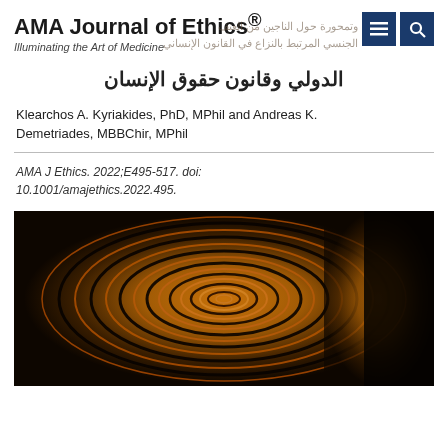AMA Journal of Ethics® — Illuminating the Art of Medicine
الدولي وقانون حقوق الإنسان
Klearchos A. Kyriakides, PhD, MPhil and Andreas K. Demetriades, MBBChir, MPhil
AMA J Ethics. 2022;E495-517. doi: 10.1001/amajethics.2022.495.
[Figure (photo): Abstract spiral wood grain pattern with concentric rings on a dark background, amber/orange tones]